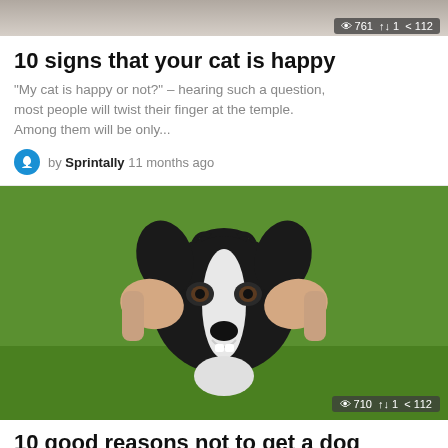[Figure (photo): Partial photo of an animal at the top of the page with stats overlay showing 761 views, 1 retweet, 112 shares]
10 signs that your cat is happy
"My cat is happy or not?" – hearing such a question, most people will twist their finger at the temple. Among them will be only...
by Sprintally 11 months ago
[Figure (photo): Photo of a black and white Border Collie dog with human hands cupping its face on both sides, green grass background. Stats overlay: 710 views, 1 retweet, 112 shares]
10 good reasons not to get a dog